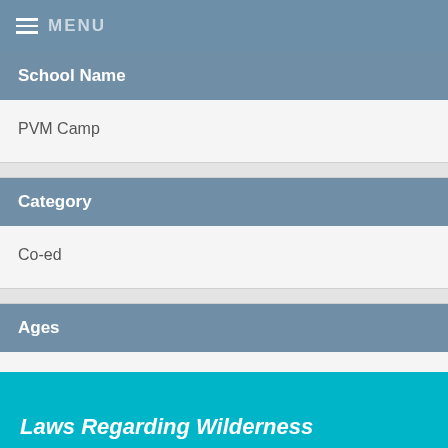MENU
| School Name |
| --- |
| PVM Camp |
| Category |
| --- |
| Co-ed |
| Ages |
| --- |
| 9-17 |
Laws Regarding Wilderness